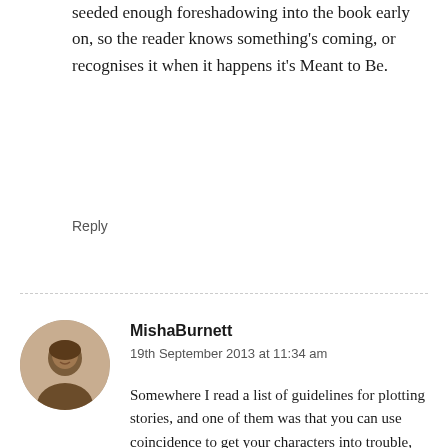seeded enough foreshadowing into the book early on, so the reader knows something's coming, or recognises it when it happens it's Meant to Be.
Reply
MishaBurnett
19th September 2013 at 11:34 am
Somewhere I read a list of guidelines for plotting stories, and one of them was that you can use coincidence to get your characters into trouble, but not to get them out of trouble. I like that, and when I think about specific examples of coincidence in fiction I realize that I am more likely to accept unlikely events when they work against the main